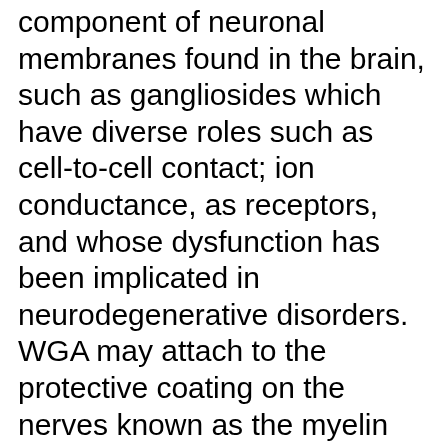component of neuronal membranes found in the brain, such as gangliosides which have diverse roles such as cell-to-cell contact; ion conductance, as receptors, and whose dysfunction has been implicated in neurodegenerative disorders. WGA may attach to the protective coating on the nerves known as the myelin sheath[14] and is capable of inhibiting nerve growth factor [15] which is important for the growth, maintenance, and survival of certain target neurons. WGA binds to N-Acetylglucosamine which is believed to function as an atypical neurotransmitter functioning in nocioceptive (pain) pathways.